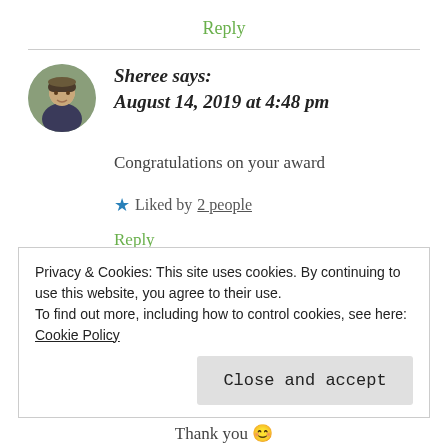Reply
Sheree says:
August 14, 2019 at 4:48 pm
Congratulations on your award
Liked by 2 people
Reply
Privacy & Cookies: This site uses cookies. By continuing to use this website, you agree to their use.
To find out more, including how to control cookies, see here: Cookie Policy
Close and accept
Thank you